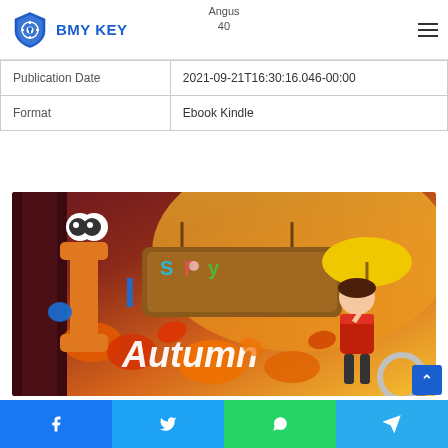BMY KEY — navigation header with logo and hamburger menu
Angus
40
|  |  |
| --- | --- |
| Publication Date | 2021-09-21T16:30:16.046-00:00 |
| Format | Ebook Kindle |
[Figure (illustration): I Spy Autumn children's book cover illustration with cartoon characters, autumn leaves, and stylized text]
Facebook | Twitter | WhatsApp | Telegram share buttons